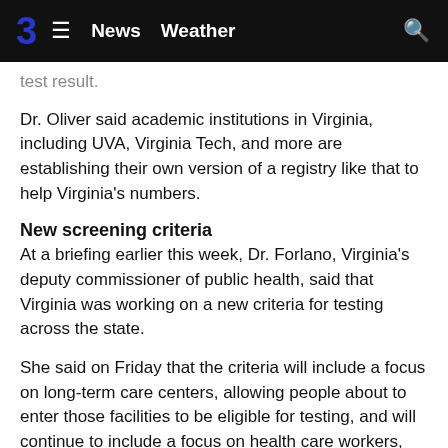3  ≡  News  Weather
test result.
Dr. Oliver said academic institutions in Virginia, including UVA, Virginia Tech, and more are establishing their own version of a registry like that to help Virginia's numbers.
New screening criteria
At a briefing earlier this week, Dr. Forlano, Virginia's deputy commissioner of public health, said that Virginia was working on a new criteria for testing across the state.
She said on Friday that the criteria will include a focus on long-term care centers, allowing people about to enter those facilities to be eligible for testing, and will continue to include a focus on health care workers, including symptomatic health care workers and workers at centers facing confirmed COVID-19 treatment.